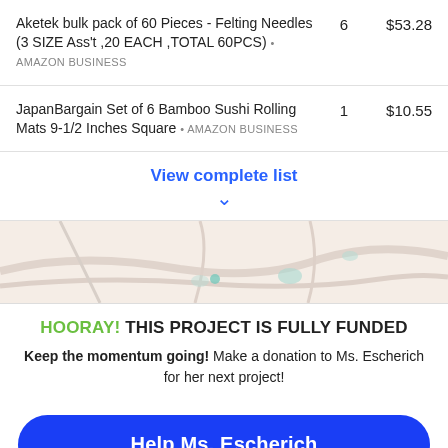Aketek bulk pack of 60 Pieces - Felting Needles (3 SIZE Ass't ,20 EACH ,TOTAL 60PCS) • AMAZON BUSINESS  6  $53.28
JapanBargain Set of 6 Bamboo Sushi Rolling Mats 9-1/2 Inches Square • AMAZON BUSINESS  1  $10.55
View complete list
[Figure (map): Partial map background image showing light beige/peach tones with faint road/area outlines]
HOORAY! THIS PROJECT IS FULLY FUNDED
Keep the momentum going! Make a donation to Ms. Escherich for her next project!
Help Ms. Escherich